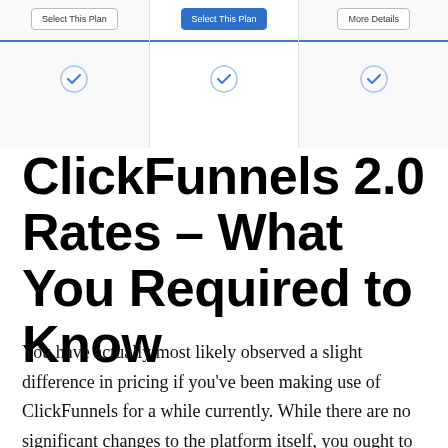[Figure (screenshot): Top portion of a three-column pricing plan comparison interface showing 'Select This Plan' buttons (middle column highlighted in blue), horizontal divider lines, and checkmark circles beneath each column.]
ClickFunnels 2.0 Rates – What You Required to Know
You have actually most likely observed a slight difference in pricing if you've been making use of ClickFunnels for a while currently. While there are no significant changes to the platform itself, you ought to